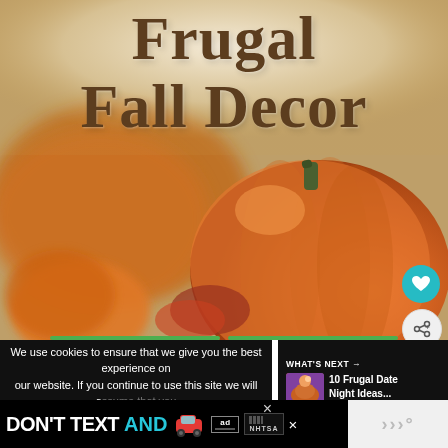Frugal Fall Decor
[Figure (photo): Close-up photo of orange pumpkins on a wooden surface with warm autumn tones]
We use cookies to ensure that we give you the best experience on our website. If you continue to use this site we will assume that you are happy with it.
WHAT'S NEXT → 10 Frugal Date Night Ideas...
[Figure (infographic): DON'T TEXT AND drive safety advertisement with car emoji, ad icon, and NHTSA logo]
WWW°